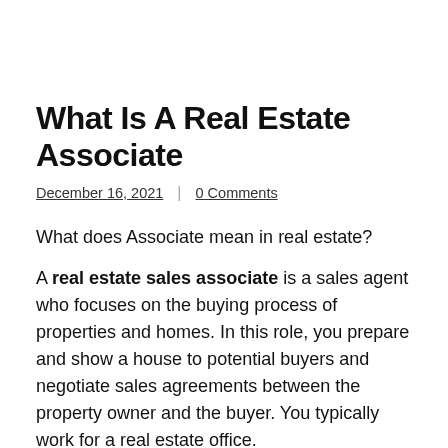What Is A Real Estate Associate
December 16, 2021 | 0 Comments
What does Associate mean in real estate?
A real estate sales associate is a sales agent who focuses on the buying process of properties and homes. In this role, you prepare and show a house to potential buyers and negotiate sales agreements between the property owner and the buyer. You typically work for a real estate office.
What is the difference between a realtor and an associate?
In a real estate purchase, the agent representing the